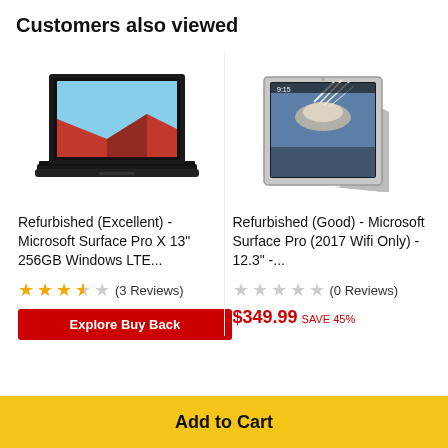Customers also viewed
[Figure (photo): Refurbished Microsoft Surface Pro X 13-inch laptop with black finish, open lid showing red abstract wallpaper]
[Figure (photo): Refurbished Microsoft Surface Pro (2017) in silver/platinum with kickstand open showing a nature photo on screen]
Refurbished (Excellent) - Microsoft Surface Pro X 13" 256GB Windows LTE...
Refurbished (Good) - Microsoft Surface Pro (2017 Wifi Only) - 12.3" -...
★★★☆☆ (3 Reviews)
☆☆☆☆☆ (0 Reviews)
$349.99 SAVE 45%
Add to Cart